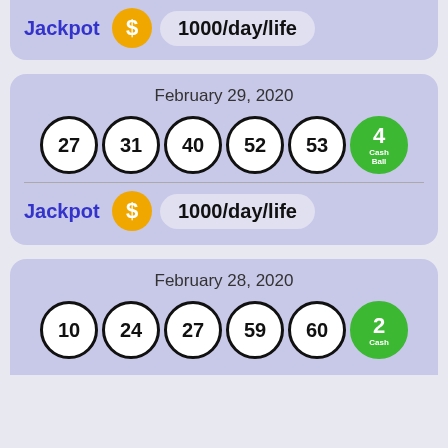[Figure (infographic): Top partial lottery card showing Jackpot row with $1000/day/life prize]
[Figure (infographic): Lottery draw card for February 29, 2020 with numbers 27, 31, 40, 52, 53 and Cash Ball 4, Jackpot $1000/day/life]
[Figure (infographic): Lottery draw card for February 28, 2020 (partial) with numbers 10, 24, 27, 59, 60 and Cash Ball 2]